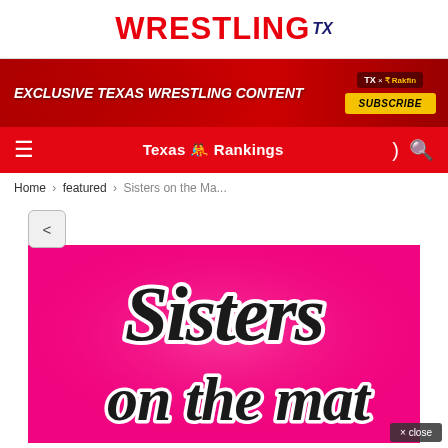WRESTLING TX
[Figure (illustration): Red banner advertisement: EXCLUSIVE TEXAS WRESTLING CONTENT with TX x Rakfin Subscribe button]
[Figure (screenshot): Red navigation bar with hamburger menu, Texas wrestling emoji Rankings title, dark mode and search icons]
Home > featured > Sisters on the Ma...
[Figure (illustration): Pink background image with stylized cursive black and white text reading Sisters on the mat]
× close